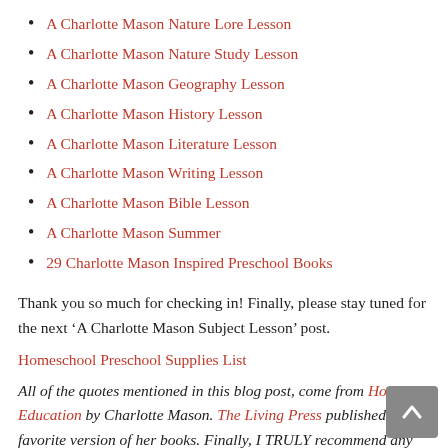A Charlotte Mason Nature Lore Lesson
A Charlotte Mason Nature Study Lesson
A Charlotte Mason Geography Lesson
A Charlotte Mason History Lesson
A Charlotte Mason Literature Lesson
A Charlotte Mason Writing Lesson
A Charlotte Mason Bible Lesson
A Charlotte Mason Summer
29 Charlotte Mason Inspired Preschool Books
Thank you so much for checking in! Finally, please stay tuned for the next ‘A Charlotte Mason Subject Lesson’ post.
Homeschool Preschool Supplies List
All of the quotes mentioned in this blog post, come from Home Education by Charlotte Mason. The Living Press published my favorite version of her books. Finally, I TRULY recommend any parent read Charlotte